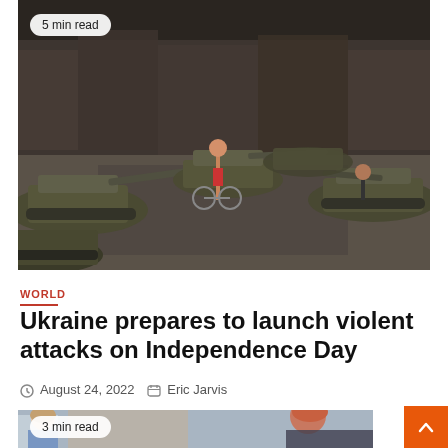[Figure (photo): Destroyed and captured Russian military tanks on display on a city street in Kyiv, Ukraine. People walk among the tanks. Buildings visible in background. '5 min read' badge overlay in top-left corner.]
WORLD
Ukraine prepares to launch violent attacks on Independence Day
August 24, 2022   Eric Jarvis
[Figure (photo): Partial view of a second article image showing two people. '3 min read' badge overlay in top-left corner.]